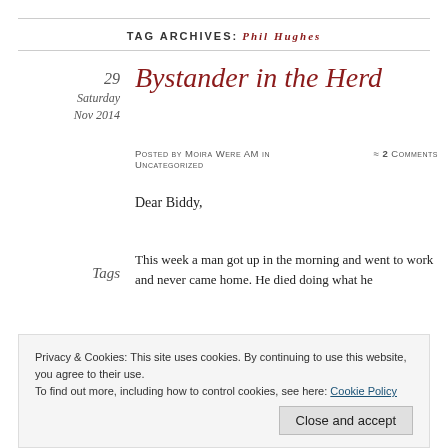TAG ARCHIVES: PHIL HUGHES
Bystander in the Herd
Posted by Moira Were AM in Uncategorized  ≈ 2 Comments
Dear Biddy,
Tags
This week a man got up in the morning and went to work and never came home. He died doing what he
Privacy & Cookies: This site uses cookies. By continuing to use this website, you agree to their use.
To find out more, including how to control cookies, see here: Cookie Policy
Close and accept